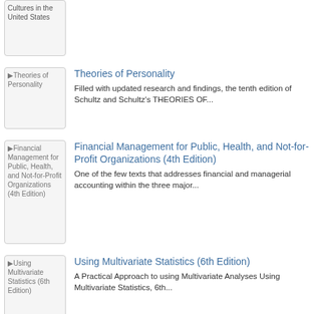[Figure (screenshot): Thumbnail image placeholder for 'Cultures in the United States' book]
Cultures in the United States
[Figure (screenshot): Thumbnail image placeholder for 'Theories of Personality' book]
Theories of Personality
Filled with updated research and findings, the tenth edition of Schultz and Schultz's THEORIES OF...
[Figure (screenshot): Thumbnail image placeholder for 'Financial Management for Public, Health, and Not-for-Profit Organizations (4th Edition)' book]
Financial Management for Public, Health, and Not-for-Profit Organizations (4th Edition)
One of the few texts that addresses financial and managerial accounting within the three major...
[Figure (screenshot): Thumbnail image placeholder for 'Using Multivariate Statistics (6th Edition)' book]
Using Multivariate Statistics (6th Edition)
A Practical Approach to using Multivariate Analyses Using Multivariate Statistics, 6th...
[Figure (screenshot): Thumbnail image placeholder for 'Human Culture: Highlights of Cultural' book]
Human Culture: Highlights of Cultural